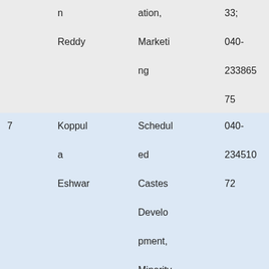|  | n
Reddy | ation,
Marketing | 33;
040-
23386575 | arthy |
| 7 | Koppula
Eshwar | Scheduled Castes Development, Minority Welfare, | 040-
23451072 | Dharmapuri |